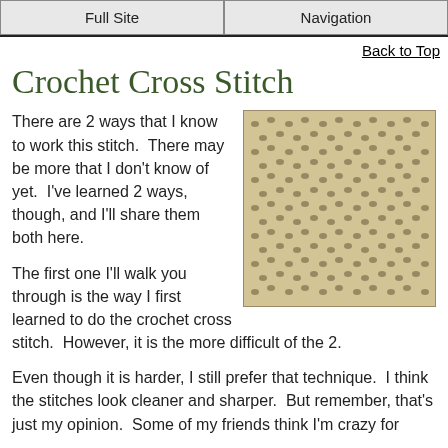Full Site | Navigation
Back to Top
Crochet Cross Stitch
[Figure (photo): Close-up photo of crochet cross stitch fabric in cream/beige yarn showing the open lace pattern of crossed stitches.]
There are 2 ways that I know to work this stitch.  There may be more that I don't know of yet.  I've learned 2 ways, though, and I'll share them both here.

The first one I'll walk you through is the way I first learned to do the crochet cross stitch.  However, it is the more difficult of the 2.

Even though it is harder, I still prefer that technique.  I think the stitches look cleaner and sharper.  But remember, that's just my opinion.  Some of my friends think I'm crazy for